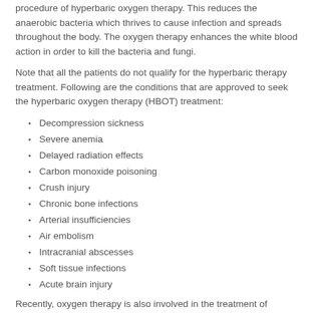procedure of hyperbaric oxygen therapy. This reduces the anaerobic bacteria which thrives to cause infection and spreads throughout the body. The oxygen therapy enhances the white blood action in order to kill the bacteria and fungi.
Note that all the patients do not qualify for the hyperbaric therapy treatment. Following are the conditions that are approved to seek the hyperbaric oxygen therapy (HBOT) treatment:
Decompression sickness
Severe anemia
Delayed radiation effects
Carbon monoxide poisoning
Crush injury
Chronic bone infections
Arterial insufficiencies
Air embolism
Intracranial abscesses
Soft tissue infections
Acute brain injury
Recently, oxygen therapy is also involved in the treatment of chronic degenerative health problems such as stroke, diabetic ulcers, brain injury, atherosclerosis, peripheral vascular disease, macular degeneration, cerebral palsy, wound healing, multiple sclerosis and many other disorders. Hyperbaric oxygen therapy aids in the treatment whenever there is reduced blood flow and